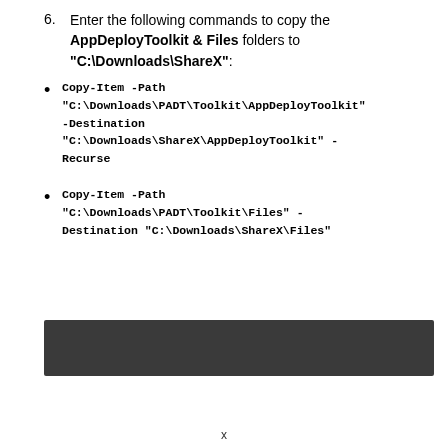6. Enter the following commands to copy the AppDeployToolkit & Files folders to "C:\Downloads\ShareX":
Copy-Item -Path "C:\Downloads\PADT\Toolkit\AppDeployToolkit" -Destination "C:\Downloads\ShareX\AppDeployToolkit" -Recurse
Copy-Item -Path "C:\Downloads\PADT\Toolkit\Files" -Destination "C:\Downloads\ShareX\Files"
[Figure (screenshot): Dark gray/black bar representing a terminal or code block background]
x